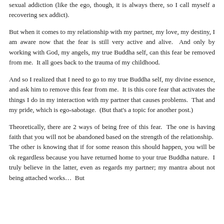sexual addiction (like the ego, though, it is always there, so I call myself a recovering sex addict).
But when it comes to my relationship with my partner, my love, my destiny, I am aware now that the fear is still very active and alive.  And only by working with God, my angels, my true Buddha self, can this fear be removed from me.  It all goes back to the trauma of my childhood.
And so I realized that I need to go to my true Buddha self, my divine essence, and ask him to remove this fear from me.  It is this core fear that activates the things I do in my interaction with my partner that causes problems.  That and my pride, which is ego-sabotage.  (But that's a topic for another post.)
Theoretically, there are 2 ways of being free of this fear.  The one is having faith that you will not be abandoned based on the strength of the relationship.  The other is knowing that if for some reason this should happen, you will be ok regardless because you have returned home to your true Buddha nature.  I truly believe in the latter, even as regards my partner; my mantra about not being attached works…  But